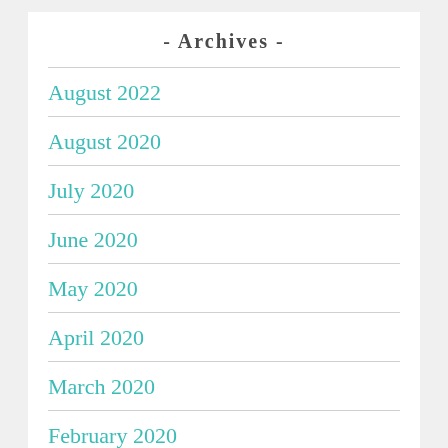- Archives -
August 2022
August 2020
July 2020
June 2020
May 2020
April 2020
March 2020
February 2020